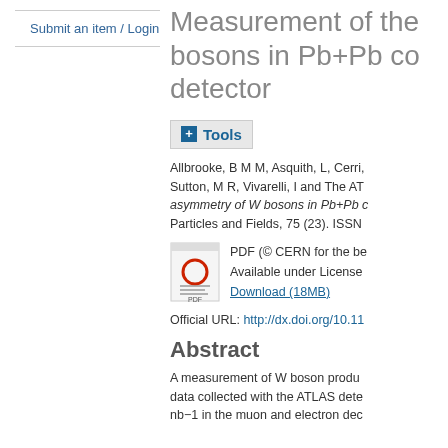Submit an item / Login
Measurement of the bosons in Pb+Pb co detector
Tools
Allbrooke, B M M, Asquith, L, Cerri, Sutton, M R, Vivarelli, I and The AT asymmetry of W bosons in Pb+Pb Particles and Fields, 75 (23). ISSN
[Figure (other): PDF file icon with red circle and lines]
PDF (© CERN for the be Available under License Download (18MB)
Official URL: http://dx.doi.org/10.11
Abstract
A measurement of W boson produ data collected with the ATLAS dete nb-1 in the muon and electron dec